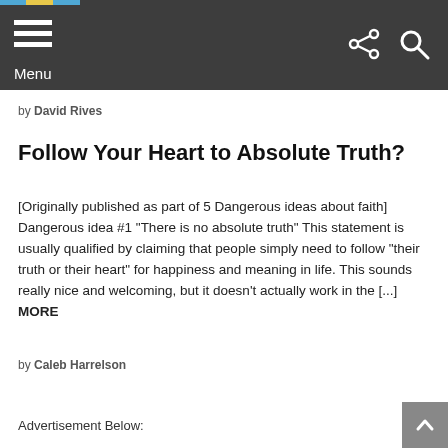Menu
by David Rives
Follow Your Heart to Absolute Truth?
[Originally published as part of 5 Dangerous ideas about faith] Dangerous idea #1 "There is no absolute truth" This statement is usually qualified by claiming that people simply need to follow “their truth or their heart” for happiness and meaning in life. This sounds really nice and welcoming, but it doesn’t actually work in the [...] MORE
by Caleb Harrelson
Advertisement Below: